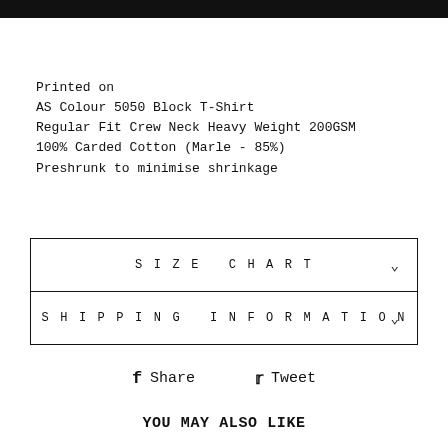Printed on
AS Colour 5050 Block T-Shirt
Regular Fit Crew Neck Heavy Weight 200GSM
100% Carded Cotton (Marle - 85%)
Preshrunk to minimise shrinkage
SIZE CHART
SHIPPING INFORMATION
Share   Tweet
YOU MAY ALSO LIKE